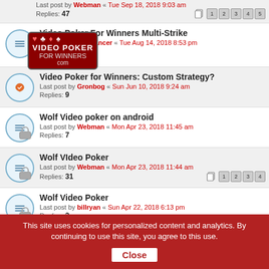Last post by Webman « Tue Sep 18, 2018 9:03 am
Replies: 47
Video Poker For Winners Multi-Strike
Last post by BobDancer « Tue Aug 14, 2018 8:53 pm
Video Poker for Winners: Custom Strategy?
Last post by Gronbog « Sun Jun 10, 2018 9:24 am
Replies: 9
Wolf Video poker on android
Last post by Webman « Mon Apr 23, 2018 11:45 am
Replies: 7
Wolf VIdeo Poker
Last post by Webman « Mon Apr 23, 2018 11:44 am
Replies: 31
Wolf Video Poker
Last post by billryan « Sun Apr 22, 2018 6:13 pm
Replies: 2
[Figure (screenshot): Video Poker for Winners advertisement overlay with card suits and logo]
Doctors Stunned! Mole & Skin Tag Removal
n/a
This site uses cookies for personalized content and analytics. By continuing to use this site, you agree to this use. Close